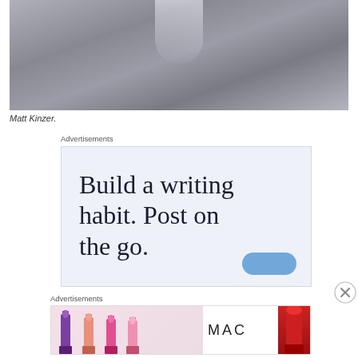[Figure (photo): Close-up photo of gray/lavender fuzzy fabric or fleece material with soft folds and shadows, a small transparent/glass object visible at the top center]
Matt Kinzer.
[Figure (infographic): Advertisement banner with light blue background showing text 'Build a writing habit. Post on the go.' with a blue button at the bottom, labeled 'Advertisements' above]
[Figure (infographic): MAC cosmetics advertisement banner showing colorful lipsticks on the left, MAC logo in the center, 'SHOP NOW' box, and a red lipstick on the right, labeled 'Advertisements' above]